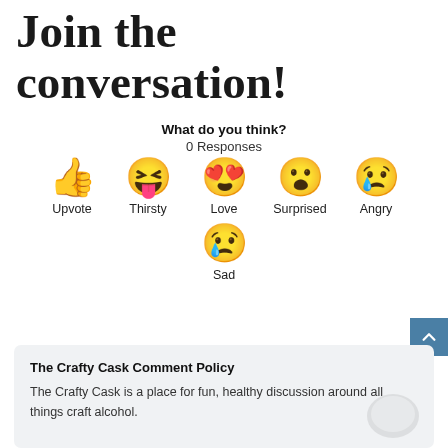Join the conversation!
What do you think?
0 Responses
[Figure (illustration): Six emoji reaction buttons: Upvote (thumbs up), Thirsty (laughing face with tongue), Love (heart eyes), Surprised (open mouth), Angry (crying angry face), Sad (sad face with tear)]
The Crafty Cask Comment Policy
The Crafty Cask is a place for fun, healthy discussion around all things craft alcohol.